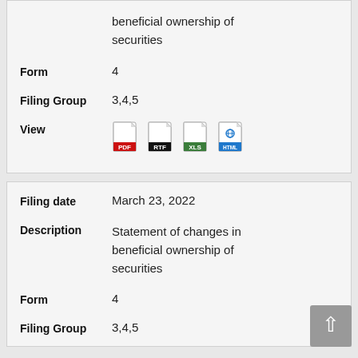beneficial ownership of securities
Form: 4
Filing Group: 3,4,5
[Figure (other): File format icons: PDF, RTF, XLS, HTML]
Filing date: March 23, 2022
Description: Statement of changes in beneficial ownership of securities
Form: 4
Filing Group: 3,4,5